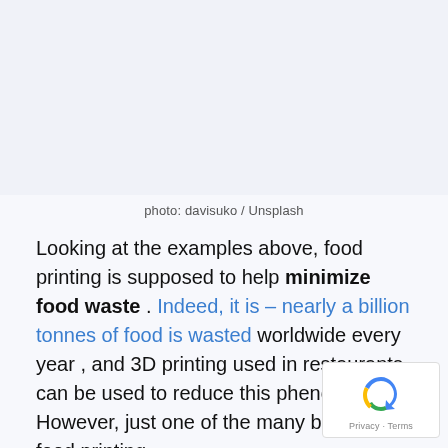[Figure (photo): Blank light blue-grey photo placeholder area]
photo: davisuko / Unsplash
Looking at the examples above, food printing is supposed to help minimize food waste . Indeed, it is – nearly a billion tonnes of food is wasted worldwide every year , and 3D printing used in restaurants can be used to reduce this phenomenon. However, just one of the many benefits of food printing.